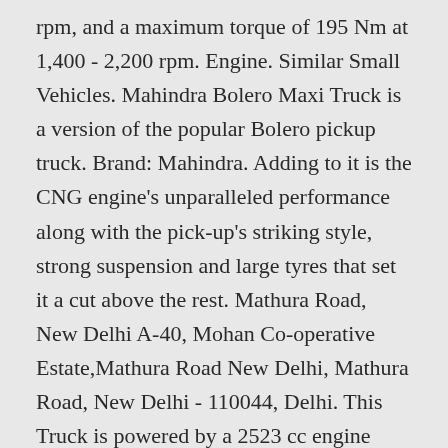rpm, and a maximum torque of 195 Nm at 1,400 - 2,200 rpm. Engine. Similar Small Vehicles. Mahindra Bolero Maxi Truck is a version of the popular Bolero pickup truck. Brand: Mahindra. Adding to it is the CNG engine's unparalleled performance along with the pick-up's striking style, strong suspension and large tyres that set it a cut above the rest. Mathura Road, New Delhi A-40, Mohan Co-operative Estate,Mathura Road New Delhi, Mathura Road, New Delhi - 110044, Delhi. This Truck is powered by a 2523 cc engine which produces 70 HP of power and carries a 1150 kg of PayLoad. 6.51 Lakh in India. Mahindra Supro Mini Truck CNG Highlights Mahindra Supro Mini Truck CNG offers a payload of 750 kg.